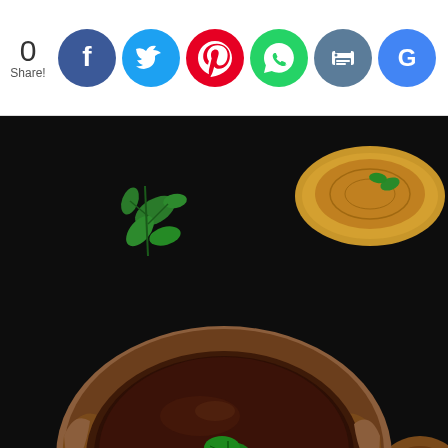[Figure (screenshot): Social share bar with count '0 Share!' and social media icon buttons: Facebook (blue), Twitter (light blue), Pinterest (red), WhatsApp (green), Print (grey-blue), Google (blue)]
[Figure (photo): Dark food photography showing a bowl/cup made from tamarind pod filled with dark brown chutney sauce topped with a fresh mint leaf, with coriander leaves and bread/puri visible in background. White italic bold text overlay reads 'Dates Tamarind Chutney']
Dates Tamarind Chutney
[Figure (screenshot): Advertisement banner with dark background showing person on electric scooter, text 'Download Helbiz and ride' in large white bold font, with ad badge top right]